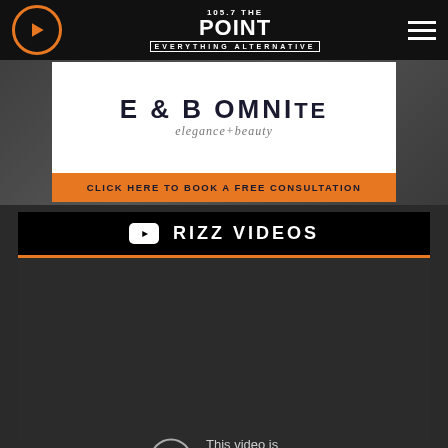[Figure (screenshot): 105.7 The Point radio station website header with play button (orange circle), station logo in center, and hamburger menu on right on black background]
[Figure (screenshot): E&B Omni elegance+beauty advertisement banner with dark text logo on white background and orange CTA bar reading CLICK HERE TO BOOK A FREE CONSULTATION]
RIZZ VIDEOS
[Figure (screenshot): Embedded YouTube video player showing age-restriction error: 'This video is age-restricted and only available on YouTube. Learn more' with 'Watch on YouTube' link below. Dark gray background with info circle icon on left.]